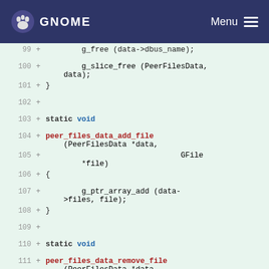GNOME  Menu
[Figure (screenshot): GNOME website navigation header with logo and hamburger menu]
99  +    g_free (data->dbus_name);
100 +    g_slice_free (PeerFilesData, data);
101 + }
102 +
103 + static void
104 + peer_files_data_add_file (PeerFilesData *data,
105 +                          GFile *file)
106 + {
107 +     g_ptr_array_add (data->files, file);
108 + }
109 +
110 + static void
111 + peer_files_data_remove_file (PeerFilesData *data,
112 +                              GFile *file)